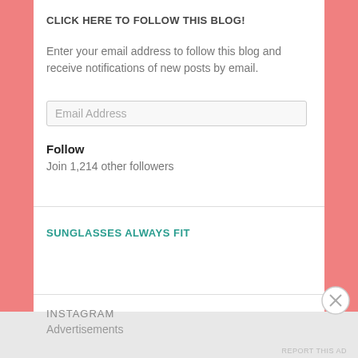CLICK HERE TO FOLLOW THIS BLOG!
Enter your email address to follow this blog and receive notifications of new posts by email.
Email Address
Follow
Join 1,214 other followers
SUNGLASSES ALWAYS FIT
INSTAGRAM
Advertisements